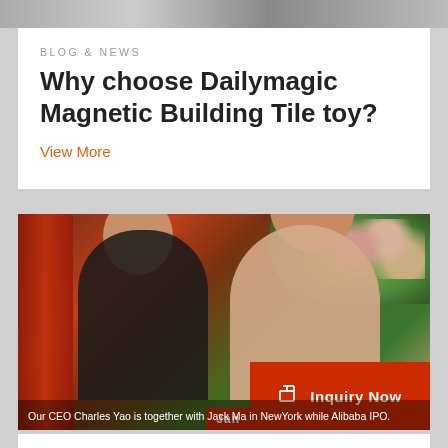[Figure (photo): Top image strip showing partial view of a scene, cropped]
BLOG & NEWS
Why choose Dailymagic Magnetic Building Tile toy?
View More
[Figure (photo): Photo of CEO Charles Yao together with Jack Ma in New York while Alibaba IPO. Two men smiling, standing together. Red background/curtain on left, flowers and greenery on upper right. Red Inquiry Now button overlay in lower right.]
Our CEO Charles Yao is together with Jack Ma in New York while Alibaba IPO.